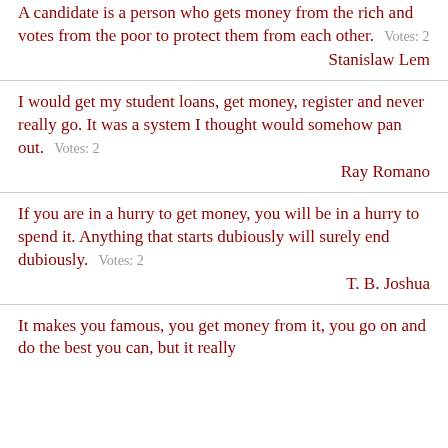A candidate is a person who gets money from the rich and votes from the poor to protect them from each other. Votes: 2
Stanislaw Lem
I would get my student loans, get money, register and never really go. It was a system I thought would somehow pan out. Votes: 2
Ray Romano
If you are in a hurry to get money, you will be in a hurry to spend it. Anything that starts dubiously will surely end dubiously. Votes: 2
T. B. Joshua
It makes you famous, you get money from it, you go on and do the best you can, but it really